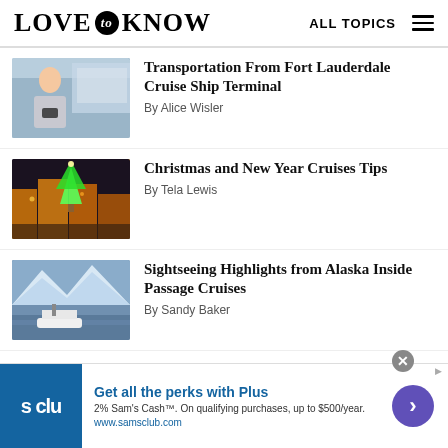LOVE to KNOW — ALL TOPICS
[Figure (photo): Woman looking at phone near cruise ship terminal]
Transportation From Fort Lauderdale Cruise Ship Terminal
By Alice Wisler
[Figure (photo): City waterfront with illuminated Christmas tree at night]
Christmas and New Year Cruises Tips
By Tela Lewis
[Figure (photo): Cruise ship near glacier in Alaska Inside Passage]
Sightseeing Highlights from Alaska Inside Passage Cruises
By Sandy Baker
[Figure (other): Sam's Club advertisement: Get all the perks with Plus. 2% Sam's Cash™. On qualifying purchases, up to $500/year. www.samsclub.com]